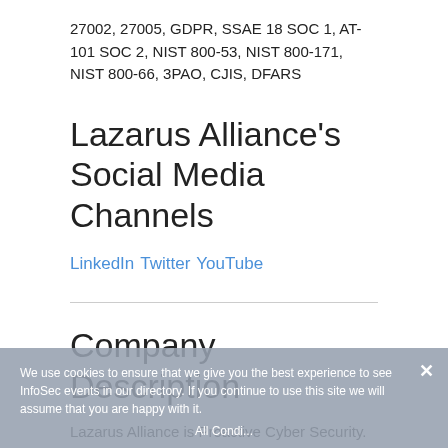27002, 27005, GDPR, SSAE 18 SOC 1, AT-101 SOC 2, NIST 800-53, NIST 800-171, NIST 800-66, 3PAO, CJIS, DFARS
Lazarus Alliance's Social Media Channels
LinkedIn Twitter YouTube
Company Description
Lazarus Alliance is Proactive Cyber Security. This Cybersecurity company's primary purpose is to assist organizations attain, maintain, and demonstrate compliance and information security excellence – in any jurisdiction. Lazarus Alliance specializes in IT security, risk, privacy,
We use cookies to ensure that we give you the best experience to see InfoSec events in our directory. If you continue to use this site we will assume that you are happy with it. All Condi...